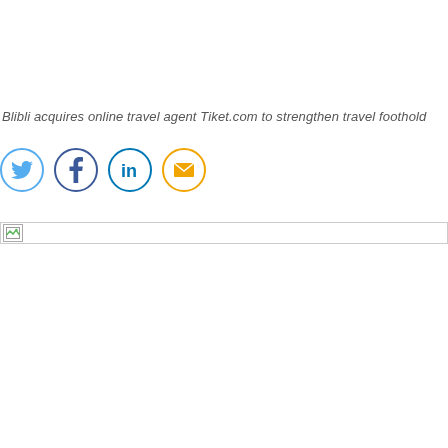Blibli acquires online travel agent Tiket.com to strengthen travel foothold
[Figure (other): Social media sharing icons: Twitter (blue circle), Facebook (blue circle), LinkedIn (blue circle), Email (orange circle)]
[Figure (other): Broken image placeholder — a wide rectangular box with a small broken image icon in the top-left corner]